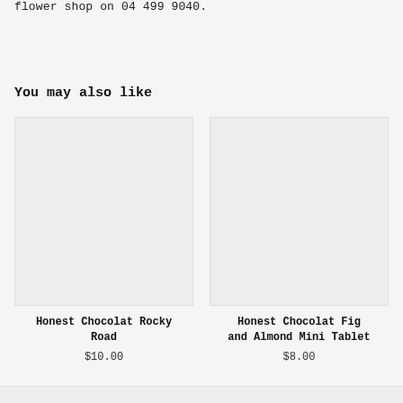flower shop on 04 499 9040.
You may also like
[Figure (photo): Product image placeholder for Honest Chocolat Rocky Road]
Honest Chocolat Rocky Road
$10.00
[Figure (photo): Product image placeholder for Honest Chocolat Fig and Almond Mini Tablet]
Honest Chocolat Fig and Almond Mini Tablet
$8.00